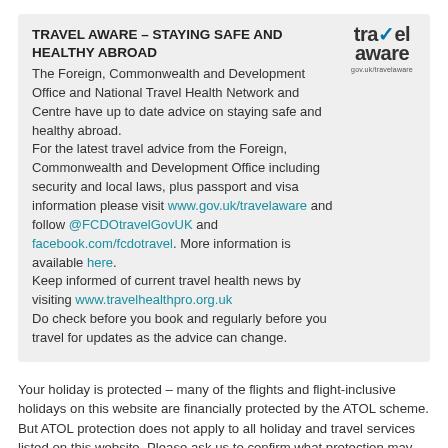TRAVEL AWARE – STAYING SAFE AND HEALTHY ABROAD
The Foreign, Commonwealth and Development Office and National Travel Health Network and Centre have up to date advice on staying safe and healthy abroad.
For the latest travel advice from the Foreign, Commonwealth and Development Office including security and local laws, plus passport and visa information please visit www.gov.uk/travelaware and follow @FCDOtravelGovUK and facebook.com/fcdotravel. More information is available here.
Keep informed of current travel health news by visiting www.travelhealthpro.org.uk
Do check before you book and regularly before you travel for updates as the advice can change.
[Figure (logo): Travel Aware logo with checkmark in 'travel' text and 'aware' below, with gov.uk/travelaware URL]
Your holiday is protected – many of the flights and flight-inclusive holidays on this website are financially protected by the ATOL scheme. But ATOL protection does not apply to all holiday and travel services listed on this website. Please ask us to confirm what protection may apply to your booking. If you do not receive an ATOL Certificate then the booking will not be ATOL protected. If you do receive an ATOL Certificate but all the parts of your trip are not listed on it,